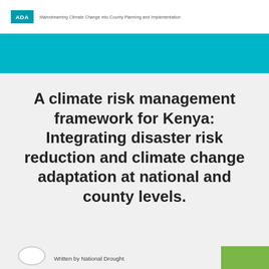ADA | Mainstreaming Climate Change into County Planning and Implementation
A climate risk management framework for Kenya: Integrating disaster risk reduction and climate change adaptation at national and county levels.
Written by National Drought